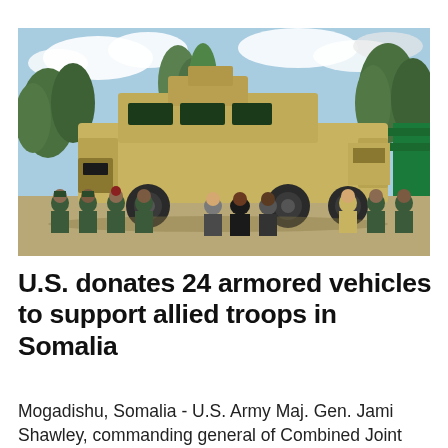[Figure (photo): A large tan armored MRAP vehicle parked outdoors with trees and cloudy blue sky in background. A group of military personnel in camouflage uniforms and civilians in business attire pose seated and standing in front of the vehicle.]
U.S. donates 24 armored vehicles to support allied troops in Somalia
Mogadishu, Somalia - U.S. Army Maj. Gen. Jami Shawley, commanding general of Combined Joint